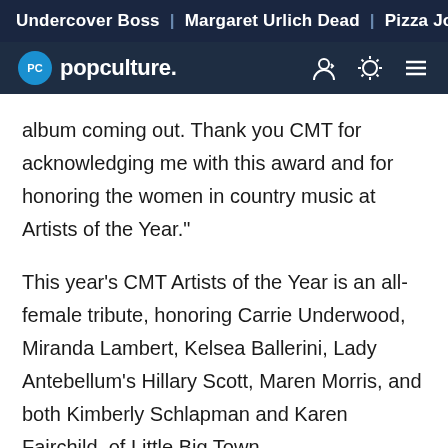Undercover Boss | Margaret Urlich Dead | Pizza John's Recal
[Figure (logo): popculture. website logo with PC icon in blue circle, nav icons for user, theme toggle, and menu]
album coming out. Thank you CMT for acknowledging me with this award and for honoring the women in country music at Artists of the Year."
This year's CMT Artists of the Year is an all-female tribute, honoring Carrie Underwood, Miranda Lambert, Kelsea Ballerini, Lady Antebellum's Hillary Scott, Maren Morris, and both Kimberly Schlapman and Karen Fairchild, of Little Big Town.